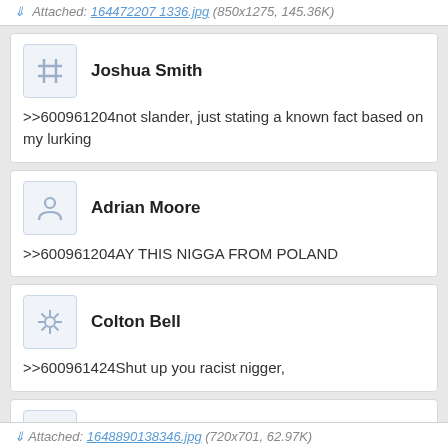Attached: 164472207 1336.jpg (850x1275, 145.36K)
Joshua Smith
>>600961204not slander, just stating a known fact based on my lurking
Adrian Moore
>>600961204AY THIS NIGGA FROM POLAND
Colton Bell
>>600961424Shut up you racist nigger,
Xavier Lee
come to poland
Attached: 1648890138346.jpg (720x701, 62.97K)